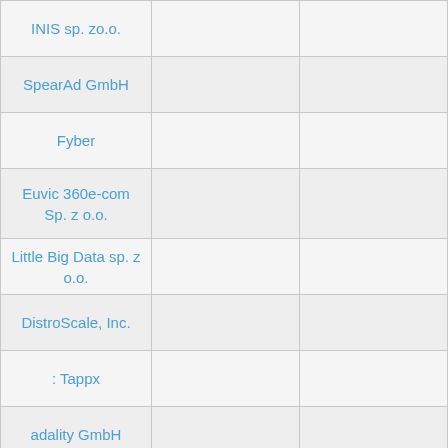| INIS sp. zo.o. |  |  |
| SpearAd GmbH |  |  |
| Fyber |  |  |
| Euvic 360e-com Sp. z o.o. |  |  |
| Little Big Data sp. z o.o. |  |  |
| DistroScale, Inc. |  |  |
| : Tappx |  |  |
| adality GmbH |  |  |
|  |  |  |